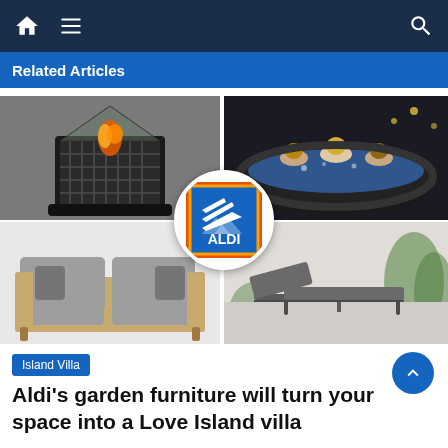Related Articles
[Figure (photo): Collage of four Aldi garden furniture/accessories photos: top-left a black metal fire pit with flames, top-right an inflatable hot tub with people in it, bottom-left a wooden-framed outdoor sofa with grey cushions, bottom-right a grey metal sun lounger on a patio with plants. Aldi logo in a white circle overlaid at center.]
Island Villa
Aldi's garden furniture will turn your space into a Love Island villa